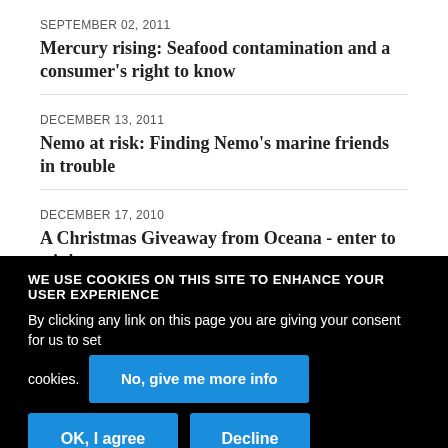SEPTEMBER 02, 2011
Mercury rising: Seafood contamination and a consumer's right to know
DECEMBER 13, 2011
Nemo at risk: Finding Nemo's marine friends in trouble
DECEMBER 17, 2010
A Christmas Giveaway from Oceana - enter to win!
APRIL 15, 2011
What link...
WE USE COOKIES ON THIS SITE TO ENHANCE YOUR USER EXPERIENCE
By clicking any link on this page you are giving your consent for us to set cookies.